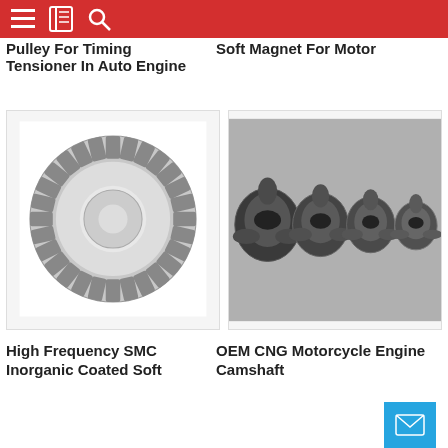Navigation header with menu, book, and search icons
Pulley For Timing Tensioner In Auto Engine
Soft Magnet For Motor
[Figure (photo): Circular stator/rotor lamination with radial teeth, metallic silver color, viewed from above]
[Figure (photo): Four OEM CNG motorcycle engine camshaft pieces in graduated sizes, metallic dark chrome finish, arranged in a row on grey background]
High Frequency SMC Inorganic Coated Soft
OEM CNG Motorcycle Engine Camshaft